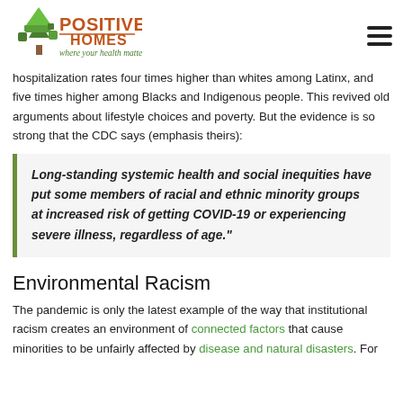[Figure (logo): Positive Homes logo with green tree icon, orange 'POSITIVE HOMES' text, and green tagline 'where your health matters']
hospitalization rates four times higher than whites among Latinx, and five times higher among Blacks and Indigenous people. This revived old arguments about lifestyle choices and poverty. But the evidence is so strong that the CDC says (emphasis theirs):
Long-standing systemic health and social inequities have put some members of racial and ethnic minority groups at increased risk of getting COVID-19 or experiencing severe illness, regardless of age."
Environmental Racism
The pandemic is only the latest example of the way that institutional racism creates an environment of connected factors that cause minorities to be unfairly affected by disease and natural disasters. For COVID...